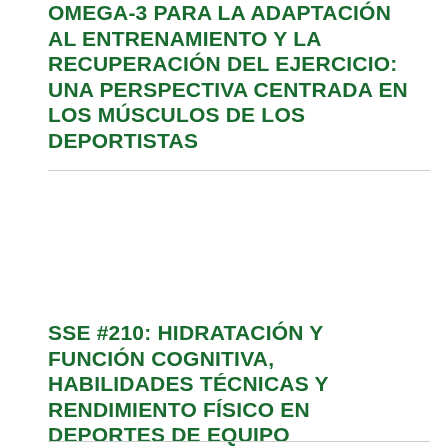OMEGA-3 PARA LA ADAPTACIÓN AL ENTRENAMIENTO Y LA RECUPERACIÓN DEL EJERCICIO: UNA PERSPECTIVA CENTRADA EN LOS MÚSCULOS DE LOS DEPORTISTAS
SSE #210: HIDRATACIÓN Y FUNCIÓN COGNITIVA, HABILIDADES TÉCNICAS Y RENDIMIENTO FÍSICO EN DEPORTES DE EQUIPO